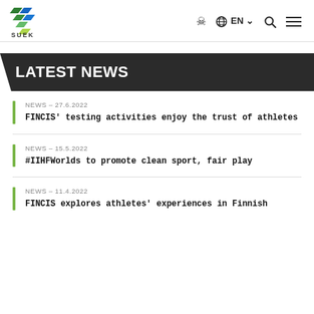SUEK | EN | (globe icon) | (search icon) | (menu icon)
LATEST NEWS
NEWS – 27.6.2022
FINCIS' testing activities enjoy the trust of athletes
NEWS – 15.5.2022
#IIHFWorlds to promote clean sport, fair play
NEWS – 11.4.2022
FINCIS explores athletes' experiences in Finnish